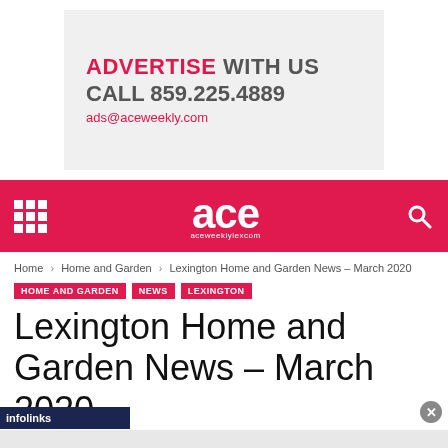[Figure (other): Advertisement banner: ADVERTISE WITH US / CALL 859.225.4889 / ads@aceweekly.com on light gray background]
ace aceweeklylexcom navigation bar with grid menu icon and search icon
Home › Home and Garden › Lexington Home and Garden News – March 2020
HOME AND GARDEN   NEWS   LEXINGTON
Lexington Home and Garden News – March 2020